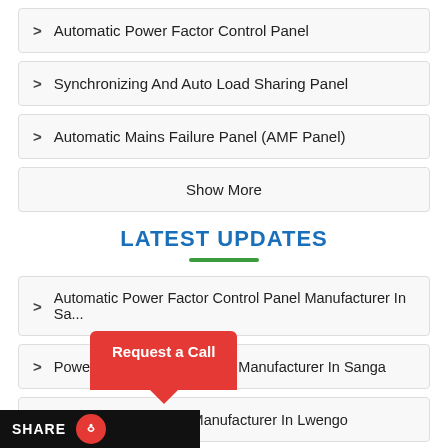Automatic Power Factor Control Panel
Synchronizing And Auto Load Sharing Panel
Automatic Mains Failure Panel (AMF Panel)
Show More
LATEST UPDATES
Automatic Power Factor Control Panel Manufacturer In Sa...
Power Control Center Panel Manufacturer In Sanga
...Panel Manufacturer In Lwengo
...natic Power Factor Control Panel Manufacturer In Lw...